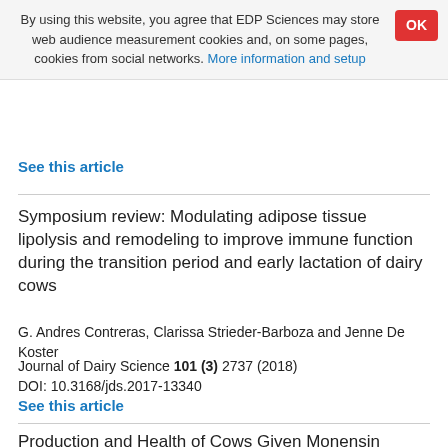By using this website, you agree that EDP Sciences may store web audience measurement cookies and, on some pages, cookies from social networks. More information and setup
See this article
Symposium review: Modulating adipose tissue lipolysis and remodeling to improve immune function during the transition period and early lactation of dairy cows
G. Andres Contreras, Clarissa Strieder-Barboza and Jenne De Koster
Journal of Dairy Science 101 (3) 2737 (2018)
DOI: 10.3168/jds.2017-13340
See this article
Production and Health of Cows Given Monensin